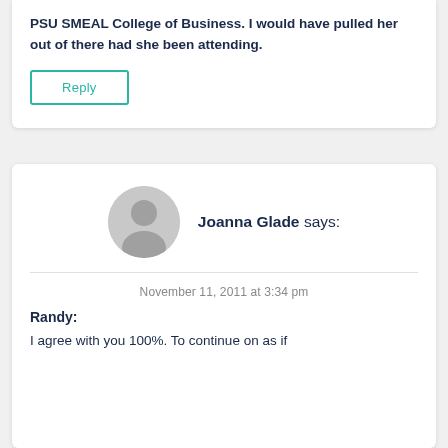[Figure (other): Hamburger menu icon (three teal horizontal lines) in top right corner]
PSU SMEAL College of Business. I would have pulled her out of there had she been attending.
Reply
Joanna Glade says:
[Figure (illustration): Generic user avatar circle icon in gray]
November 11, 2011 at 3:34 pm
Randy:
I agree with you 100%. To continue on as if